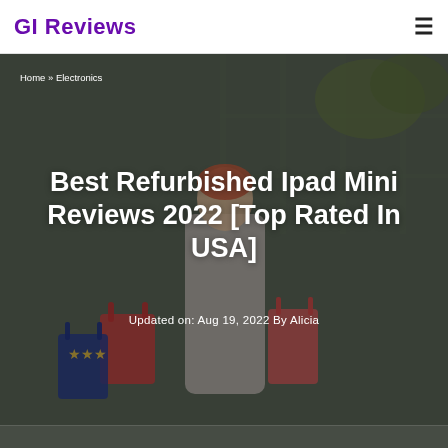GI Reviews
[Figure (photo): Website header screenshot showing GI Reviews logo in purple on left and hamburger menu icon on right, with hero image below showing a woman holding shopping bags in front of a building with glass windows. Breadcrumb reads Home » Electronics. Main article title 'Best Refurbished Ipad Mini Reviews 2022 [Top Rated In USA]' in white bold text overlaid on the photo. Below the title: 'Updated on: Aug 19, 2022 By Alicia' in white text.]
Best Refurbished Ipad Mini Reviews 2022 [Top Rated In USA]
Updated on: Aug 19, 2022 By Alicia